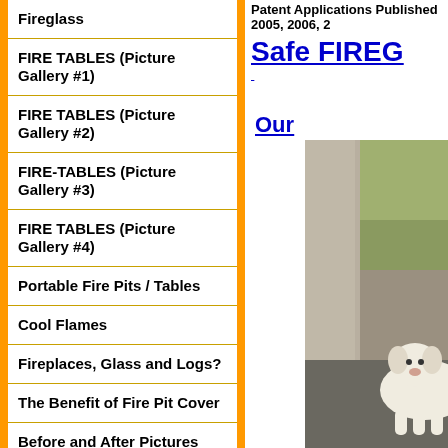Patent Applications Published 2005, 2006, 2
Safe FIREG
Fireglass
FIRE TABLES (Picture Gallery #1)
FIRE TABLES (Picture Gallery #2)
FIRE-TABLES (Picture Gallery #3)
FIRE TABLES (Picture Gallery #4)
Portable Fire Pits / Tables
Cool Flames
Fireplaces, Glass and Logs?
The Benefit of Fire Pit Cover
Before and After Pictures
Orange County Fire Pit
Installation
Our
[Figure (photo): Photo of a small white dog near a stone wall outdoors]